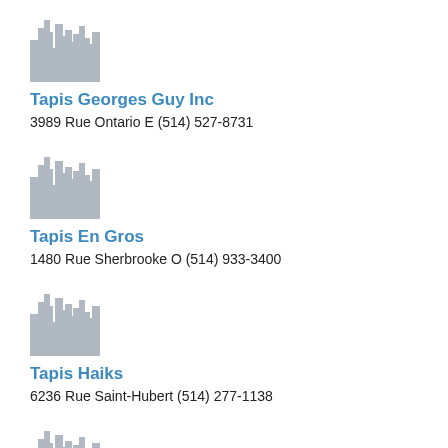[Figure (illustration): Gray cityscape/skyline placeholder icon]
Tapis Georges Guy Inc
3989 Rue Ontario E (514) 527-8731
[Figure (illustration): Gray cityscape/skyline placeholder icon]
Tapis En Gros
1480 Rue Sherbrooke O (514) 933-3400
[Figure (illustration): Gray cityscape/skyline placeholder icon]
Tapis Haiks
6236 Rue Saint-Hubert (514) 277-1138
[Figure (illustration): Gray cityscape/skyline placeholder icon]
Tapis Andre Papillon & Fils
6120 Rue De Cadillac (514) 254-5622